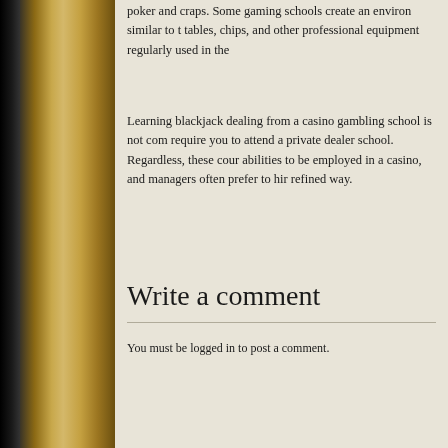poker and craps. Some gaming schools create an environ similar to tables, chips, and other professional equipment regularly used in the
Learning blackjack dealing from a casino gambling school is not com require you to attend a private dealer school. Regardless, these cour abilities to be employed in a casino, and managers often prefer to hir refined way.
Write a comment
You must be logged in to post a comment.